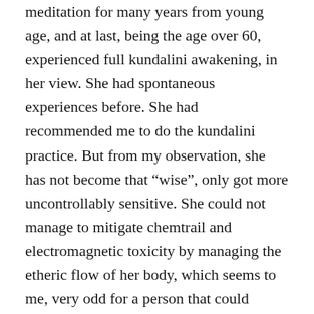meditation for many years from young age, and at last, being the age over 60, experienced full kundalini awakening, in her view. She had spontaneous experiences before. She had recommended me to do the kundalini practice. But from my observation, she has not become that “wise”, only got more uncontrollably sensitive. She could not manage to mitigate chemtrail and electromagnetic toxicity by managing the etheric flow of her body, which seems to me, very odd for a person that could manage the flow of the chakras. But looking to other persons via internet, I have found several so-called kundalini awakened persons reporting being stuck in the similar situations who could not effectively heal themselves.